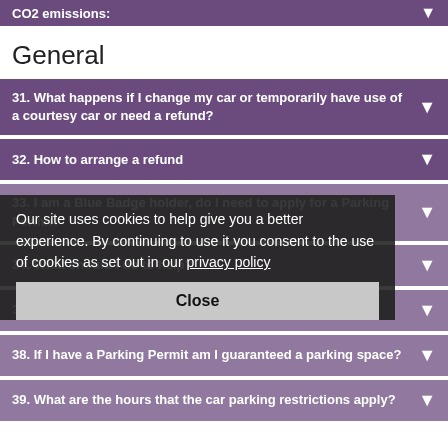CO2 emissions:
General
31. What happens if I change my car or temporarily have use of a courtesy car or need a refund?
32. How to arrange a refund
33. I am a Blue Badge holder, do I need to apply for a Parking Permit?
34. What should I do to help?
35. I work part time, what is the best Permit option for me?
38. If I have a Parking Permit am I guaranteed a parking space?
39. What are the hours that the car parking restrictions apply?
Our site uses cookies to help give you a better experience. By continuing to use it you consent to the use of cookies as set out in our privacy policy
Close